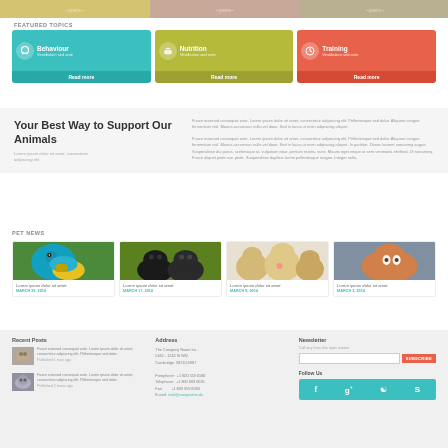[Figure (photo): Top banner strip with pet photos]
FEATURED TOPICS
[Figure (infographic): Three featured topic cards: Behaviour, Nutrition, Training each with icon, subtitle, and Read more button]
Your Best Way to Support Our Animals
Lorem ipsum dolor sit amet, consectetur adipiscing elit
Fusce euismod consequat ante. Lorem ipsum dolor sit amet, consectetur adipiscing elit. Pellentesque sed dolor. Aliquam congue fermentum nisl. Mauris accumsan nulla vel diam. Sed in lacus ut enim adipiscing aliquet.
Fusce euismod consequat ante. Lorem ipsum dolor sit amet, consectetur adipiscing elit. Pellentesque sed dolor. Aliquam congue fermentum nisl. Mauris accumsan nulla vel diam. Sed in lacus ut enim adipiscing aliquet. In porttitor. Donec laoreet nonummy augue. Suspendisse dui purus, scelerisque at, vulputate vitae, pretium mattis, nunc. Mauris eget neque at sem venenatis eleifend. Ut nonummy.
PET NEWS
[Figure (photo): Blue and yellow macaw parrot]
Lorem ipsum dolor sit amet
MARCH 25, 2014
[Figure (photo): Two black puppies in grass]
Lorem ipsum dolor sit amet
MARCH 11, 2014
[Figure (photo): Three golden retriever puppies]
Lorem ipsum dolor sit amet
MARCH 9, 2014
[Figure (photo): Orange and white cat on wooden deck]
Lorem ipsum dolor sit amet
MARCH 3, 2014
Recent Posts
Fusce euismod consequat ante. Lorem ipsum dolor sit amet, consectetur adipiscing elit. Pellentesque sed dolor. Published 1 hour ago
Fusce euismod consequat ante. Lorem ipsum dolor sit amet, consectetur adipiscing elit. Pellentesque sed dolor. Published 2 hours ago
Address
The Company Name Inc.
5432 - 1234 St NW,
Cambridge, 90210-9987

Freephone: +1 800 559 6580
Telephone: +1 800 603 6035
Fax: +1 800 959 6580
E-mail: mail@compnohm.du
Newsletter
Call any from this topic winner
SUBSCRIBE
Follow Us